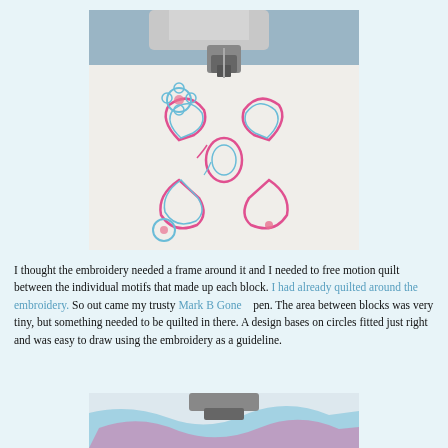[Figure (photo): Close-up photo of a sewing machine quilting over embroidered fabric with pink and blue paisley/floral motifs on white fabric.]
I thought the embroidery needed a frame around it and I needed to free motion quilt between the individual motifs that made up each block. I had already quilted around the embroidery. So out came my trusty Mark B Gone pen. The area between blocks was very tiny, but something needed to be quilted in there. A design bases on circles fitted just right and was easy to draw using the embroidery as a guideline.
[Figure (photo): Partial photo of colorful embroidered fabric with quilting visible at the bottom of the page.]